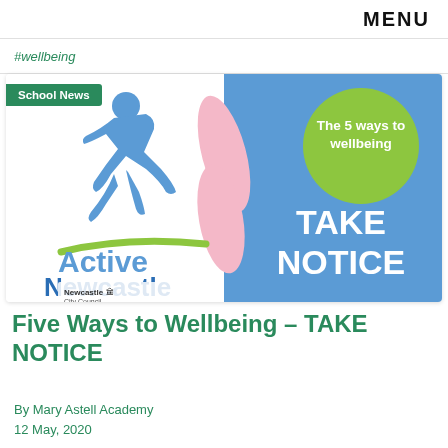MENU
#wellbeing
[Figure (illustration): Active Newcastle promotional image showing a running figure logo, Active Newcastle branding, Newcastle City Council logo on the left white panel, and on the right blue panel: a green circle with 'The 5 ways to wellbeing' text and large white 'TAKE NOTICE' text, with a pink chain-link decoration in the center.]
School News
Five Ways to Wellbeing – TAKE NOTICE
By Mary Astell Academy
12 May, 2020